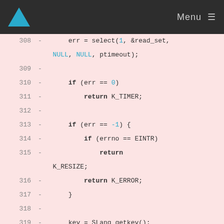Menu
[Figure (screenshot): Code diff snippet showing lines 308-325 of a C source file on a pink background, displaying select(), key handling, and file descriptor operations]
308  -       err = select(1, &read_set,
      NULL, NULL, ptimeout);
309  -
310  -       if (err == 0)
311  -           return K_TIMER;
312  -
313  -       if (err == -1) {
314  -           if (errno == EINTR)
315  -               return
      K_RESIZE;
316  -           return K_ERROR;
317  -       }
318  -
319  -       key = SLang_getkey();
320  -       if (key != K_ESC)
321  -           return key;
322  -
323  -       FD_ZERO(&read_set);
324  -       FD_SET(0, &read_set);
325  -       timeout.tv_sec = 0;